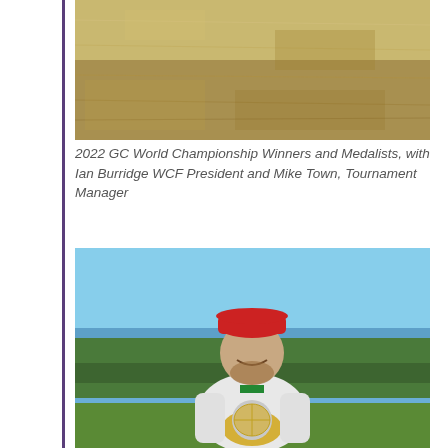[Figure (photo): Outdoor photo showing a dry grass lawn/croquet court from above, partial view — top portion of a group photo at 2022 GC World Championship]
2022 GC World Championship Winners and Medalists, with Ian Burridge WCF President and Mike Town, Tournament Manager
[Figure (photo): A smiling young man with a beard wearing a red backwards cap and white jacket, holding a large gold and silver championship trophy/globe. He is wearing a green medal ribbon. Background shows trees, blue sky, and a croquet lawn.]